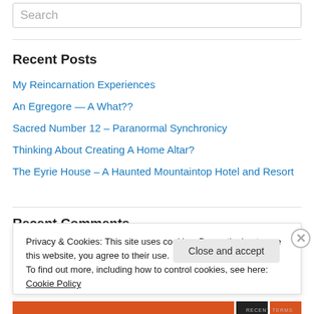Search
Recent Posts
My Reincarnation Experiences
An Egregore — A What??
Sacred Number 12 – Paranormal Synchronicy
Thinking About Creating A Home Altar?
The Eyrie House – A Haunted Mountaintop Hotel and Resort
Recent Comments
Privacy & Cookies: This site uses cookies. By continuing to use this website, you agree to their use.
To find out more, including how to control cookies, see here: Cookie Policy
Close and accept